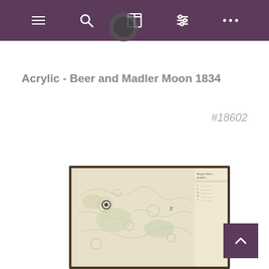Navigation bar with hamburger, search, book, sliders, and dots icons
Acrylic - Beer and Madler Moon 1834
#18602
[Figure (photo): Framed antique moon map - Beer and Madler Moon 1834, showing lunar topography with a legend table on the right side, displayed in a dark wooden frame]
[Figure (other): Back to top button - dark purple square with upward chevron arrow]